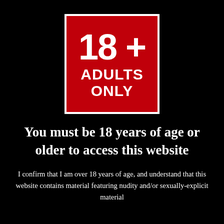[Figure (illustration): Red square badge with white border containing '18+' in large bold white text and 'ADULTS ONLY' below in bold white capital letters]
You must be 18 years of age or older to access this website
I confirm that I am over 18 years of age, and understand that this website contains material featuring nudity and/or sexually-explicit material